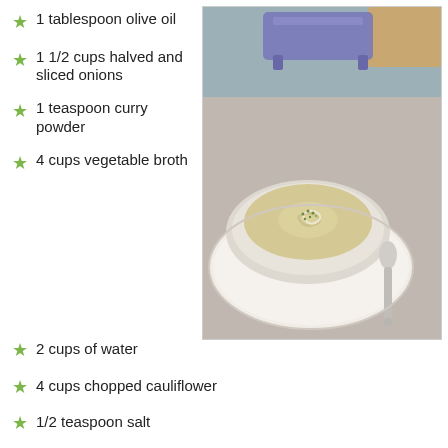1 tablespoon olive oil
1 1/2 cups halved and sliced onions
1 teaspoon curry powder
4 cups vegetable broth
[Figure (photo): A white bowl of creamy cauliflower soup with a swirl of cream and green chives on top, served on a white plate with a spoon, on a gray surface with a blender in the background.]
2 cups of water
4 cups chopped cauliflower
1/2 teaspoon salt
2 cups shredded zucchini, about 2 small